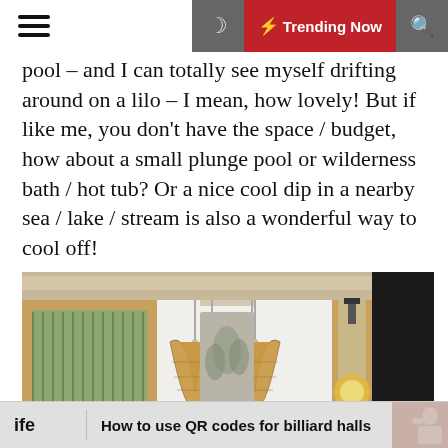☰  🌙  ⚡ Trending Now  🔍
pool – and I can totally see myself drifting around on a lilo – I mean, how lovely! But if like me, you don't have the space / budget, how about a small plunge pool or wilderness bath / hot tub? Or a nice cool dip in a nearby sea / lake / stream is also a wonderful way to cool off!
[Figure (photo): Interior dining room with white walls, wooden ceiling beams, two hanging rattan pendant lamps, a botanical wall hanging tapestry, a wooden dining table with black spindle chairs, and a view of a garden through large windows on the left and right.]
ife    How to use QR codes for billiard halls